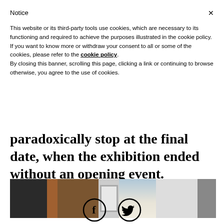Notice
This website or its third-party tools use cookies, which are necessary to its functioning and required to achieve the purposes illustrated in the cookie policy. If you want to know more or withdraw your consent to all or some of the cookies, please refer to the cookie policy.
By closing this banner, scrolling this page, clicking a link or continuing to browse otherwise, you agree to the use of cookies.
paradoxically stop at the final date, when the exhibition ended without an opening event.
[Figure (photo): Interior exhibition space photograph showing dark walls on left, wooden wall in center-left, a framed white rectangle (door/artwork), neutral walls, and darker area on right.]
[Figure (other): Social media icons: Facebook (f) and Twitter (bird) in circular outlines.]